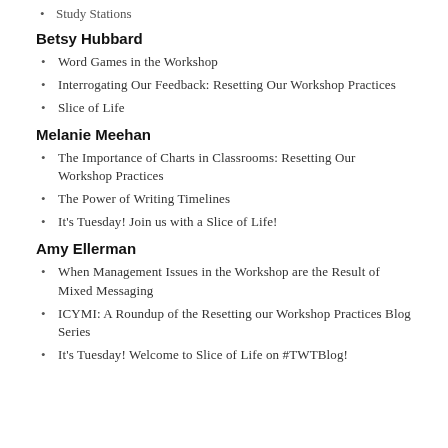Study Stations
Betsy Hubbard
Word Games in the Workshop
Interrogating Our Feedback: Resetting Our Workshop Practices
Slice of Life
Melanie Meehan
The Importance of Charts in Classrooms: Resetting Our Workshop Practices
The Power of Writing Timelines
It's Tuesday! Join us with a Slice of Life!
Amy Ellerman
When Management Issues in the Workshop are the Result of Mixed Messaging
ICYMI: A Roundup of the Resetting our Workshop Practices Blog Series
It's Tuesday! Welcome to Slice of Life on #TWTBlog!